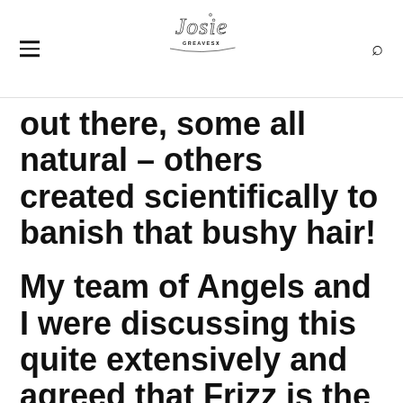Josie Greaves X
out there, some all natural – others created scientifically to banish that bushy hair!
My team of Angels and I were discussing this quite extensively and agreed that Frizz is the enemy of the summertime. Check out angels Abi and Amy and their